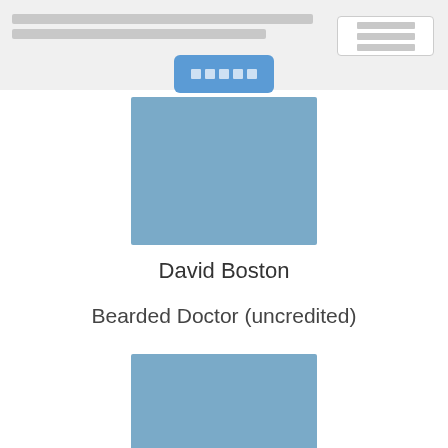[header navigation bar with search and button]
[Figure (photo): Blue/grey placeholder image rectangle at top, representing an actor photo (no real image)]
David Boston
Bearded Doctor (uncredited)
[Figure (photo): Blue placeholder with silhouette person icon and text NO IMAGE]